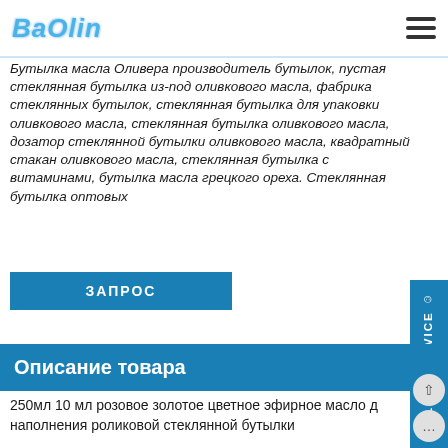BaOlin
Бутылка масла Оливера производитель бутылок, пустая стеклянная бутылка из-под оливкового масла, фабрика стеклянных бутылок, стеклянная бутылка для упаковки оливкового масла, стеклянная бутылка оливкового масла, дозатор стеклянной бутылки оливкового масла, квадратный стакан оливкового масла, стеклянная бутылка с витаминами, бутылка масла грецкого ореха. Стеклянная бутылка оптовых
ЗАПРОС
Описание товара
250мл 10 мл розовое золотое цветное эфирное масло для наполнения роликовой стеклянной бутылки